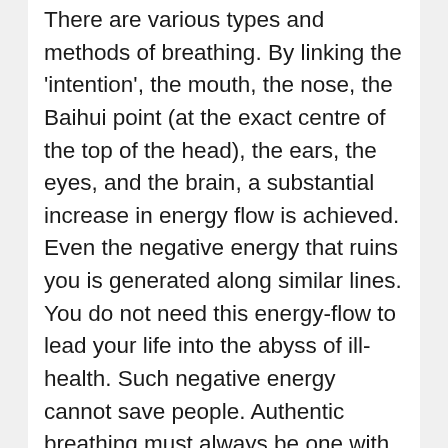There are various types and methods of breathing. By linking the 'intention', the mouth, the nose, the Baihui point (at the exact centre of the top of the head), the ears, the eyes, and the brain, a substantial increase in energy flow is achieved. Even the negative energy that ruins you is generated along similar lines. You do not need this energy-flow to lead your life into the abyss of ill-health. Such negative energy cannot save people. Authentic breathing must always be one with the universe. What and how should we do that? This is the main theme of breathing. Meditation without direction ends in meditation without a purpose. It took me more than 40 years to develop the ability to guide this energy, but it is a task I finally completed. This breathing method is the best, and it is always linked with the